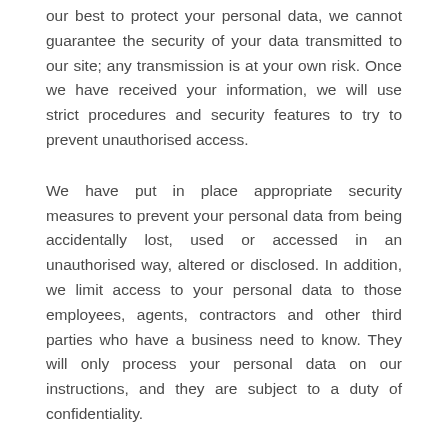our best to protect your personal data, we cannot guarantee the security of your data transmitted to our site; any transmission is at your own risk. Once we have received your information, we will use strict procedures and security features to try to prevent unauthorised access.
We have put in place appropriate security measures to prevent your personal data from being accidentally lost, used or accessed in an unauthorised way, altered or disclosed. In addition, we limit access to your personal data to those employees, agents, contractors and other third parties who have a business need to know. They will only process your personal data on our instructions, and they are subject to a duty of confidentiality.
We have put in place procedures to deal with any